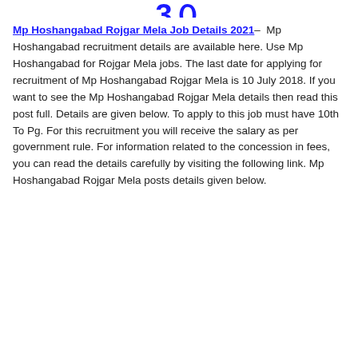[Figure (other): Partial decorative graphic at top of page showing bold blue stylized characters/numbers, cropped at top]
Mp Hoshangabad Rojgar Mela Job Details 2021– Mp Hoshangabad recruitment details are available here. Use Mp Hoshangabad for Rojgar Mela jobs. The last date for applying for recruitment of Mp Hoshangabad Rojgar Mela is 10 July 2018. If you want to see the Mp Hoshangabad Rojgar Mela details then read this post full. Details are given below. To apply to this job must have 10th To Pg. For this recruitment you will receive the salary as per government rule. For information related to the concession in fees, you can read the details carefully by visiting the following link. Mp Hoshangabad Rojgar Mela posts details given below.